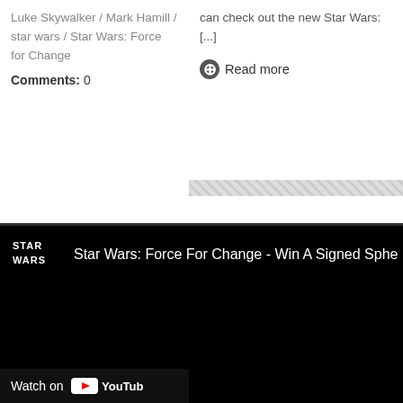Luke Skywalker / Mark Hamill / star wars / Star Wars: Force for Change
Comments: 0
can check out the new Star Wars: [...]
Read more
[Figure (screenshot): Star Wars YouTube video embed showing 'Star Wars: Force For Change - Win A Signed Sphe...' with Star Wars logo, black video area, and Watch on YouTube bar at bottom]